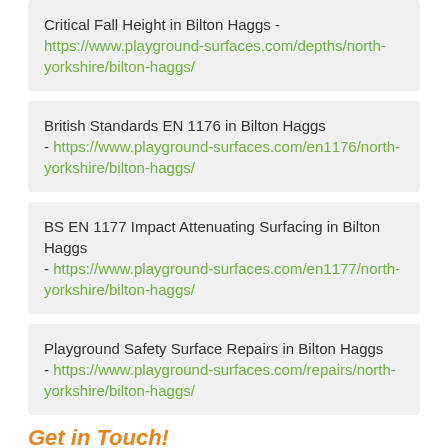Critical Fall Height in Bilton Haggs - https://www.playground-surfaces.com/depths/north-yorkshire/bilton-haggs/
British Standards EN 1176 in Bilton Haggs - https://www.playground-surfaces.com/en1176/north-yorkshire/bilton-haggs/
BS EN 1177 Impact Attenuating Surfacing in Bilton Haggs - https://www.playground-surfaces.com/en1177/north-yorkshire/bilton-haggs/
Playground Safety Surface Repairs in Bilton Haggs - https://www.playground-surfaces.com/repairs/north-yorkshire/bilton-haggs/
Get in Touch!
Please fill out the contact form we have available for more information on what our playground surfacing specialists in Bilton Haggs YO26 7 are able to install. One of our team members will reply as soon as possible with more info.